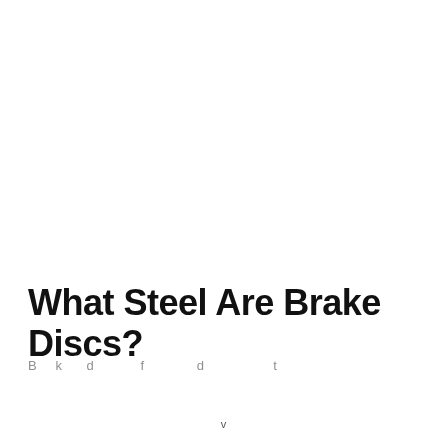What Steel Are Brake Discs?
Brake discs are typically made of cast iron...
v